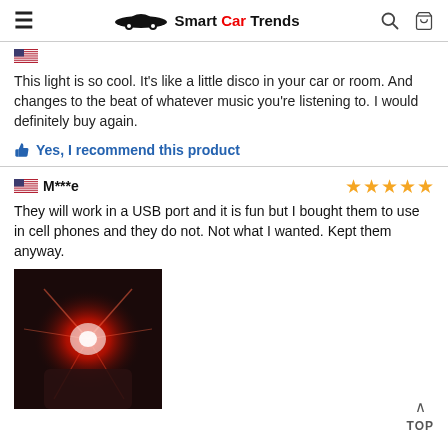Smart Car Trends
This light is so cool. It's like a little disco in your car or room. And changes to the beat of whatever music you're listening to. I would definitely buy again.
Yes, I recommend this product
M***e — 5 stars
They will work in a USB port and it is fun but I bought them to use in cell phones and they do not. Not what I wanted. Kept them anyway.
[Figure (photo): Photo of a red LED light glowing from a USB device held in a hand in a dark environment.]